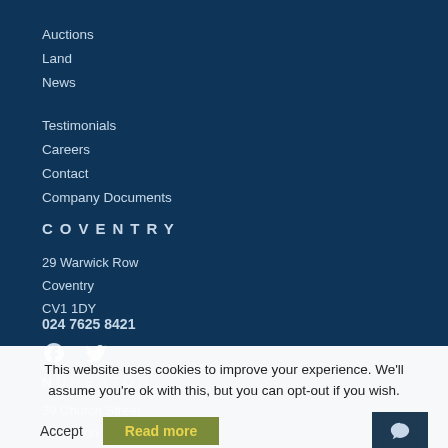Auctions
Land
News
Testimonials
Careers
Contact
Company Documents
COVENTRY
29 Warwick Row
Coventry
CV1 1DY
024 7625 8421
This website uses cookies to improve your experience. We'll assume you're ok with this, but you can opt-out if you wish.
39 Church Street
Nuneaton
CV11 4AD
024 7634 7676